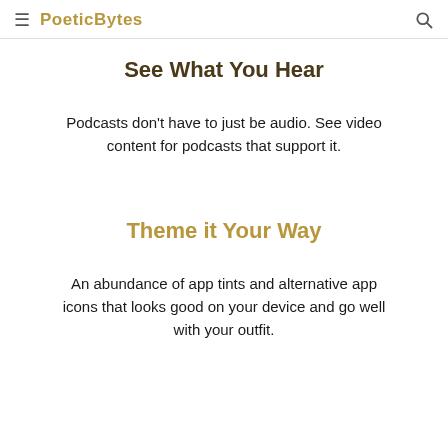≡ PoeticBytes 🔍
See What You Hear
Podcasts don't have to just be audio. See video content for podcasts that support it.
Theme it Your Way
An abundance of app tints and alternative app icons that looks good on your device and go well with your outfit.